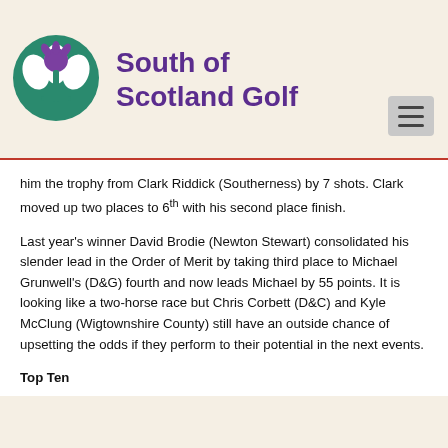[Figure (logo): South of Scotland Golf logo — green circular thistle emblem]
South of Scotland Golf
him the trophy from Clark Riddick (Southerness) by 7 shots. Clark moved up two places to 6th with his second place finish.
Last year's winner David Brodie (Newton Stewart) consolidated his slender lead in the Order of Merit by taking third place to Michael Grunwell's (D&G) fourth and now leads Michael by 55 points. It is looking like a two-horse race but Chris Corbett (D&C) and Kyle McClung (Wigtownshire County) still have an outside chance of upsetting the odds if they perform to their potential in the next events.
Top Ten